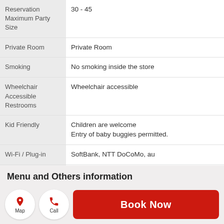| Feature | Value |
| --- | --- |
| Reservation Maximum Party Size | 30 - 45 |
| Private Room | Private Room |
| Smoking | No smoking inside the store |
| Wheelchair Accessible Restrooms | Wheelchair accessible |
| Kid Friendly | Children are welcome
Entry of baby buggies permitted. |
| Wi-Fi / Plug-in | SoftBank, NTT DoCoMo, au |
| Other | Chef on Duty |
Menu and Others information